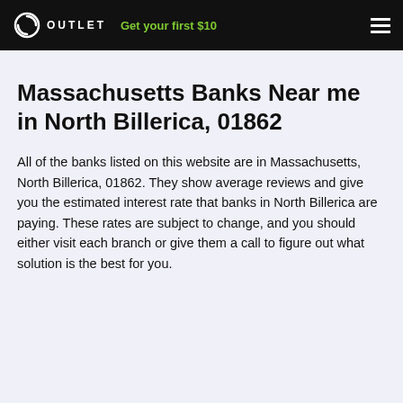OUTLET | Get your first $10
Massachusetts Banks Near me in North Billerica, 01862
All of the banks listed on this website are in Massachusetts, North Billerica, 01862. They show average reviews and give you the estimated interest rate that banks in North Billerica are paying. These rates are subject to change, and you should either visit each branch or give them a call to figure out what solution is the best for you.